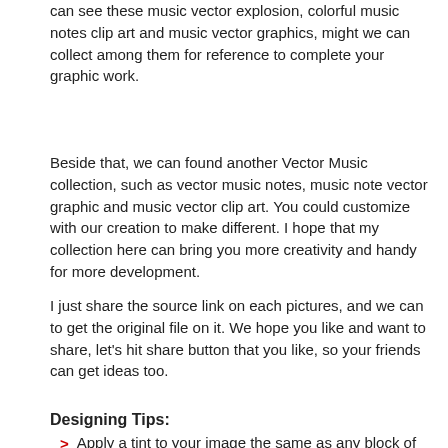category. You can see these music vector explosion, colorful music notes clip art and music vector graphics, might we can collect among them for reference to complete your graphic work.
Beside that, we can found another Vector Music collection, such as vector music notes, music note vector graphic and music vector clip art. You could customize with our creation to make different. I hope that my collection here can bring you more creativity and handy for more development.
I just share the source link on each pictures, and we can to get the original file on it. We hope you like and want to share, let's hit share button that you like, so your friends can get ideas too.
Designing Tips:
Apply a tint to your image the same as any block of color in your design consistency
All textures are not symmetrical, so consider using brushes when the texture has to be different in some areas
If the background is a minor detail, create a defocused background using gradient mesh